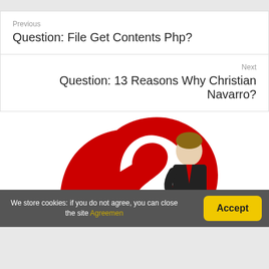Previous
Question: File Get Contents Php?
Next
Question: 13 Reasons Why Christian Navarro?
[Figure (illustration): A large red question mark with a boy in a black suit standing pensively in front of it, hand on chin]
We store cookies: if you do not agree, you can close the site Agreemen